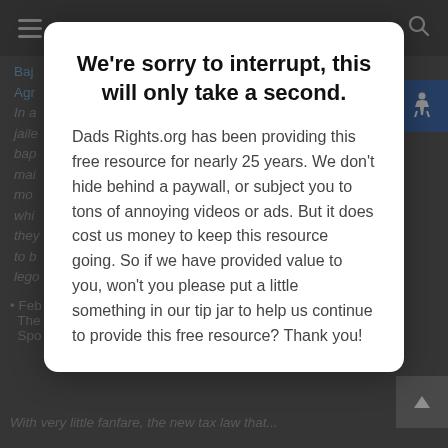[Figure (screenshot): Dark navigation bar with hamburger menu icon on left and search icon on right]
[Figure (screenshot): Background webpage content showing partially visible italic text about a legal topic, with blue link text and accessibility icon]
We're sorry to interrupt, this will only take a second.
Dads Rights.org has been providing this free resource for nearly 25 years. We don't hide behind a paywall, or subject you to tons of annoying videos or ads. But it does cost us money to keep this resource going. So if we have provided value to you, won't you please put a little something in our tip jar to help us continue to provide this free resource? Thank you!